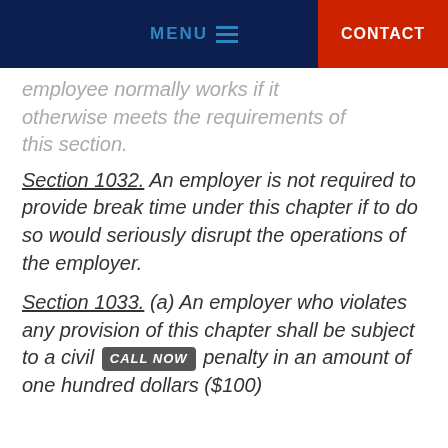MENU  CONTACT
employee normally works if it otherwise meets the requirements of this section.
Section 1032. An employer is not required to provide break time under this chapter if to do so would seriously disrupt the operations of the employer.
Section 1033. (a) An employer who violates any provision of this chapter shall be subject to a civil [CALL NOW] penalty in an amount of one hundred dollars ($100)